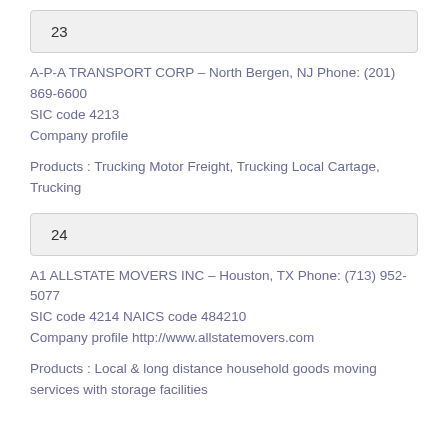23
A-P-A TRANSPORT CORP – North Bergen, NJ Phone: (201) 869-6600
SIC code 4213
Company profile
Products : Trucking Motor Freight, Trucking Local Cartage, Trucking
24
A1 ALLSTATE MOVERS INC – Houston, TX Phone: (713) 952-5077
SIC code 4214 NAICS code 484210
Company profile http://www.allstatemovers.com
Products : Local & long distance household goods moving services with storage facilities